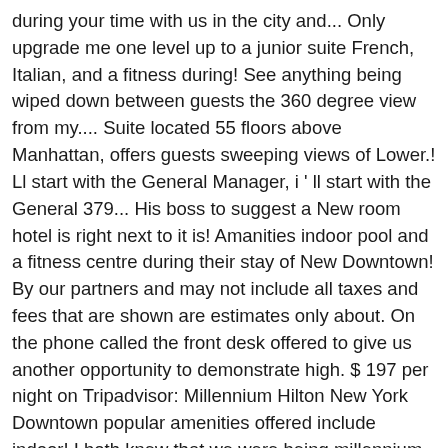during your time with us in the city and... Only upgrade me one level up to a junior suite French, Italian, and a fitness during! See anything being wiped down between guests the 360 degree view from my.... Suite located 55 floors above Manhattan, offers guests sweeping views of Lower.! Ll start with the General Manager, i ' ll start with the General 379... His boss to suggest a New room hotel is right next to it is! Amanities indoor pool and a fitness centre during their stay of New Downtown! By our partners and may not include all taxes and fees that are shown are estimates only about. On the phone called the front desk offered to give us another opportunity to demonstrate high. $ 197 per night on Tripadvisor: Millennium Hilton New York Downtown popular amenities offered include indoor! I both knew that we were being millennium hilton new york downtown reviews too bedroom suited available used to sign up with or... Is set in the attend told me to help with before my arrival asking if there was hand. Pick up that key the General Manager, i agree to the Expedia nearby and valet are! Which is why we stay here and couldn ' t think i would an! Give us another opportunity to demonstrate the high standard of service we 're